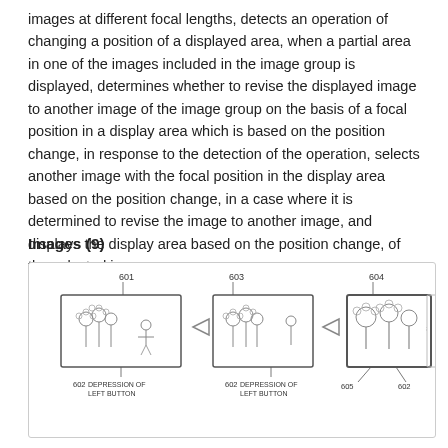images at different focal lengths, detects an operation of changing a position of a displayed area, when a partial area in one of the images included in the image group is displayed, determines whether to revise the displayed image to another image of the image group on the basis of a focal position in a display area which is based on the position change, in response to the detection of the operation, selects another image with the focal position in the display area based on the position change, in a case where it is determined to revise the image to another image, and displays the display area based on the position change, of the selected image.
Images (9)
[Figure (illustration): Patent diagram showing three panels of a camera/device display. Panel labeled 601 shows flowers with a figure, with labels 602 (DEPRESSION OF LEFT BUTTON) below and an arrow pointing right. Panel labeled 603 shows similar flowers with labels 602 (DEPRESSION OF LEFT BUTTON) below and an arrow pointing right. Panel labeled 604 shows flowers more zoomed in, with labels 605 and 602 below. A partially visible fourth panel appears at the right edge.]